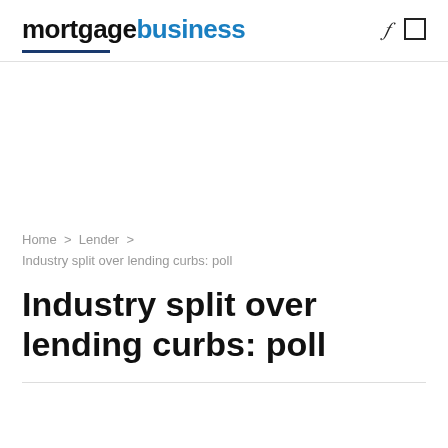mortgagebusiness
Home > Lender > Industry split over lending curbs: poll
Industry split over lending curbs: poll